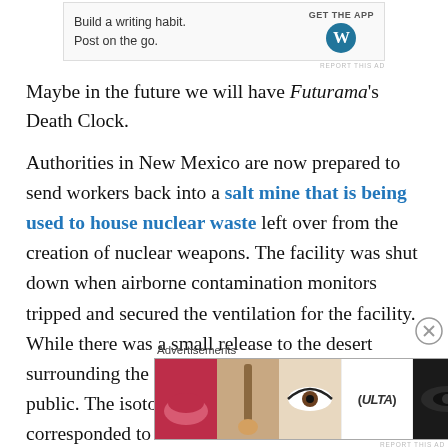[Figure (other): WordPress mobile app advertisement banner showing 'Build a writing habit. Post on the go.' with GET THE APP button and WordPress logo]
Maybe in the future we will have Futurama's Death Clock.
Authorities in New Mexico are now prepared to send workers back into a salt mine that is being used to house nuclear waste left over from the creation of nuclear weapons. The facility was shut down when airborne contamination monitors tripped and secured the ventilation for the facility. While there was a small release to the desert surrounding the site, there was no danger to the public. The isotopes detected by remote monitors corresponded to the materials known to be stored in the plant.
[Figure (other): ULTA Beauty advertisement banner with makeup imagery and SHOP NOW text]